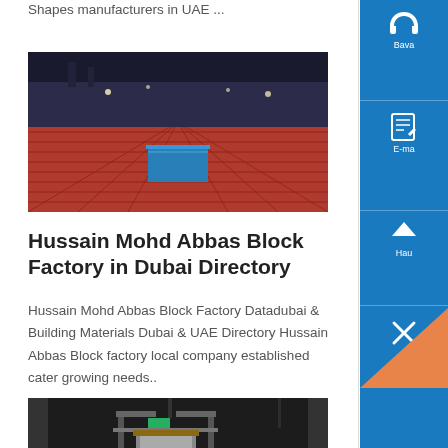Shapes manufacturers in UAE ...
[Figure (photo): Rows of red concrete blocks in a factory, with a blue concrete block in the center foreground, perspective view.]
Hussain Mohd Abbas Block Factory in Dubai Directory
Hussain Mohd Abbas Block Factory Datadubai & Building Materials Dubai & UAE Directory Hussain Abbas Block factory local company established cater growing needs..
[Figure (photo): Interior of a block factory showing molds and machinery in a dark industrial setting.]